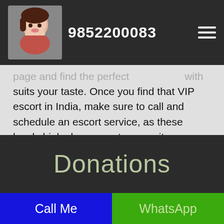9852200083
page and find the perfect [escort] that suits your taste. Once you find that VIP escort in India, make sure to call and schedule an escort service, as these lovely high class escorts are quite addictive.
Donations
Call Me
WhatsApp